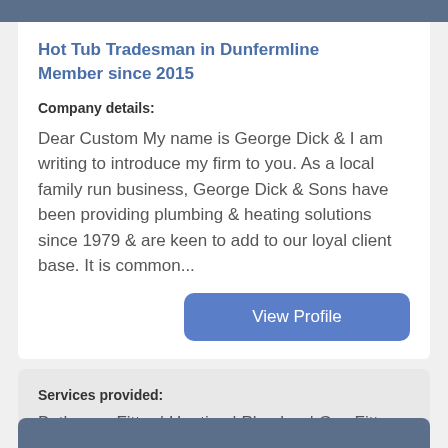Hot Tub Tradesman in Dunfermline
Member since 2015
Company details:
Dear Custom My name is George Dick & I am writing to introduce my firm to you. As a local family run business, George Dick & Sons have been providing plumbing & heating solutions since 1979 & are keen to add to our loyal client base. It is common...
View Profile
Services provided:
Bathroom Fitter | Heating | Plumber | Gas Fitter